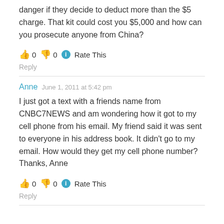danger if they decide to deduct more than the $5 charge. That kit could cost you $5,000 and how can you prosecute anyone from China?
👍 0 👎 0 ℹ Rate This
Reply
Anne  June 1, 2011 at 5:42 pm
I just got a text with a friends name from CNBC7NEWS and am wondering how it got to my cell phone from his email. My friend said it was sent to everyone in his address book. It didn't go to my email. How would they get my cell phone number? Thanks, Anne
👍 0 👎 0 ℹ Rate This
Reply